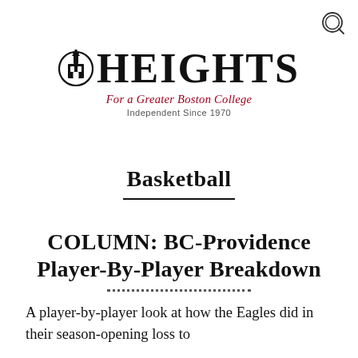[Figure (logo): The Heights newspaper logo with church icon and text 'HEIGHTS', tagline 'For a Greater Boston College', subtitle 'Independent Since 1970']
Basketball
COLUMN: BC-Providence Player-By-Player Breakdown
A player-by-player look at how the Eagles did in their season-opening loss to